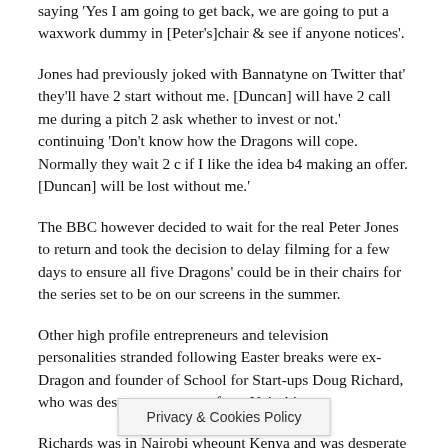saying 'Yes I am going to get back, we are going to put a waxwork dummy in [Peter's]chair & see if anyone notices'.
Jones had previously joked with Bannatyne on Twitter that' they'll have 2 start without me. [Duncan] will have 2 call me during a pitch 2 ask whether to invest or not.' continuing 'Don't know how the Dragons will cope. Normally they wait 2 c if I like the idea b4 making an offer. [Duncan] will be lost without me.'
The BBC however decided to wait for the real Peter Jones to return and took the decision to delay filming for a few days to ensure all five Dragons' could be in their chairs for the series set to be on our screens in the summer.
Other high profile entrepreneurs and television personalities stranded following Easter breaks were ex-Dragon and founder of School for Start-ups Doug Richard, who was desperate to return from Nairobi.
Richards was in Nairobi whe…ount Kenya and was desperate to retur…d, Pitch and
Privacy & Cookies Policy